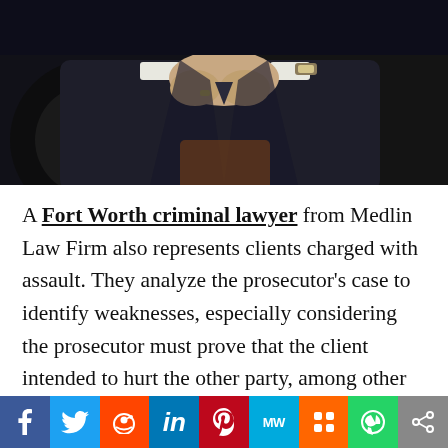[Figure (photo): Close-up photo of a man in a dark suit with hands clasped, wearing a watch and ring, seated]
A Fort Worth criminal lawyer from Medlin Law Firm also represents clients charged with assault. They analyze the prosecutor's case to identify weaknesses, especially considering the prosecutor must prove that the client intended to hurt the other party, among other factors. Also, they request more proof on unclear charges, coupled with using available laws to prove the client's innocence. The attorney assists the accused in navigating any new developments in the case and how they may affect the